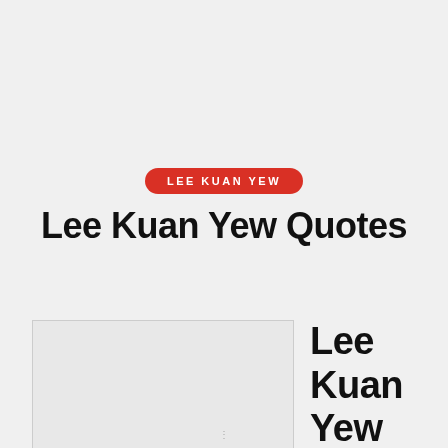LEE KUAN YEW
Lee Kuan Yew Quotes
[Figure (photo): Empty image placeholder box with light gray fill and border]
Lee Kuan Yew Quotes